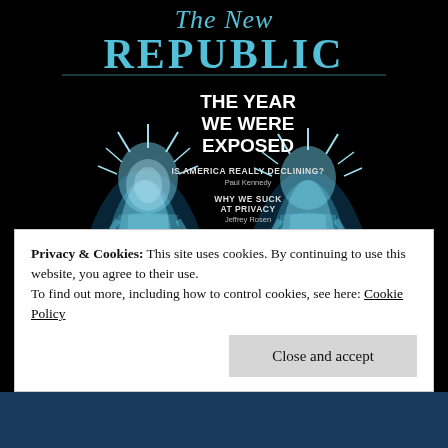[Figure (illustration): The New Republic magazine cover showing two x-ray style images of the Statue of Liberty (front and back views) on a black background. The cover text reads 'The New' in italic serif at top, 'REPUBLIC' in large letters below, 'THE YEAR WE WERE EXPOSED' as main headline, with subheadings: 'IS AMERICA REALLY DECLINING? Paul Kennedy', 'WHY WE SUCK AT PRIVACY Jeffrey Rosen', 'THE WHITE HOUSE IN TURMOIL Noam Scheiber']
Privacy & Cookies: This site uses cookies. By continuing to use this website, you agree to their use.
To find out more, including how to control cookies, see here: Cookie Policy
Close and accept